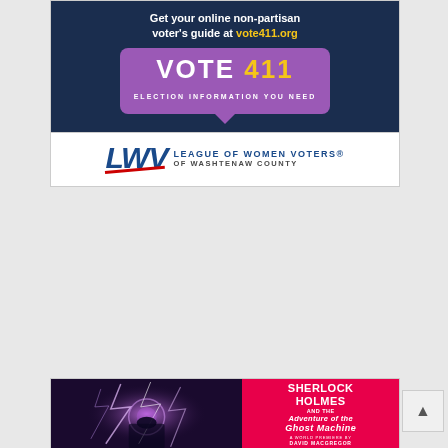[Figure (infographic): VOTE411 advertisement banner with dark navy background. Text reads 'Get your online non-partisan voter's guide at vote411.org' with 'vote411.org' in yellow. Features a purple speech bubble logo with 'VOTE 411' text and subtitle 'ELECTION INFORMATION YOU NEED'.]
[Figure (logo): League of Women Voters of Washtenaw County logo. Shows 'LWV' in large blue italic letters with a red underline swoosh, followed by 'LEAGUE OF WOMEN VOTERS® OF WASHTENAW COUNTY' text in blue and gray.]
[Figure (infographic): Sherlock Holmes advertisement banner. Left half shows dark purple/magenta lightning effects with a silhouette figure. Right half has red/pink background with text 'SHERLOCK HOLMES AND THE ADVENTURE OF THE GHOST MACHINE - A WORLD PREMIERE BY DAVID MACGREGOR'.]